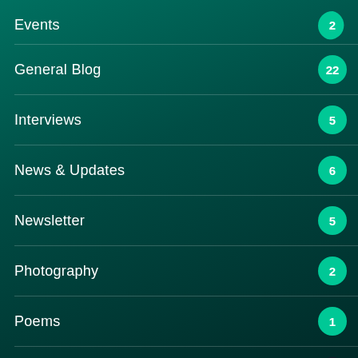Events
General Blog
Interviews
News & Updates
Newsletter
Photography
Poems
Satire